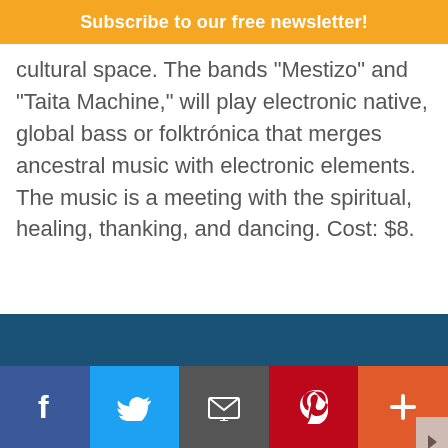Subscribe to our free newsletter!
cultural space. The bands “Mestizo” and “Taita Machine,” will play electronic native, global bass or folktrónica that merges ancestral music with electronic elements. The music is a meeting with the spiritual, healing, thanking, and dancing. Cost: $8.
“14 Pink Ch
[Figure (photo): Skyline view of a city with large domed cathedral buildings under a bright golden-hued sky]
f    ✉  p  +